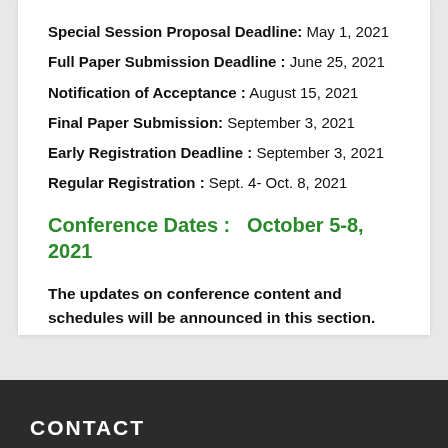Special Session Proposal Deadline: May 1, 2021
Full Paper Submission Deadline : June 25, 2021
Notification of Acceptance : August 15, 2021
Final Paper Submission: September 3, 2021
Early Registration Deadline : September 3, 2021
Regular Registration : Sept. 4- Oct. 8, 2021
Conference Dates :   October 5-8, 2021
The updates on conference content and schedules will be announced in this section.
CONTACT